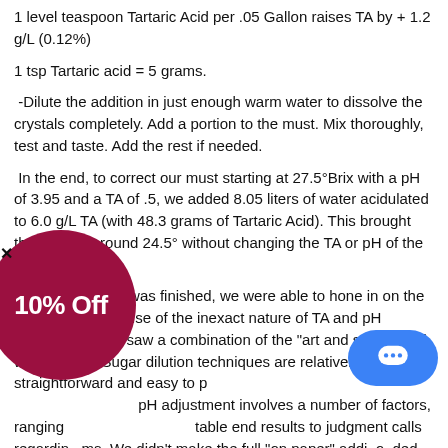1 level teaspoon Tartaric Acid per .05 Gallon raises TA by + 1.2 g/L (0.12%)
1 tsp Tartaric acid = 5 grams.
-Dilute the addition in just enough warm water to dissolve the crystals completely. Add a portion to the must. Mix thoroughly, test and taste. Add the rest if needed.
In the end, to correct our must starting at 27.5°Brix with a pH of 3.95 and a TA of .5, we added 8.05 liters of water acidulated to 6.0 g/L TA (with 48.3 grams of Tartaric Acid). This brought the °Brix to around 24.5° without changing the TA or pH of the must.
With the dilution was finished, we were able to hone in on the pH and TA. Because of the inexact nature of TA and pH adjustments, we saw a combination of the "art and science" of winemaking. Sugar dilution techniques are relatively straightforward and easy to p... pH adjustment involves a number of factors, ranging ... table end results to judgment calls regarding ... ms. We didn't make the full "on paper" addit... ... ded (+4.5 g/L% TA or 0.45%), which may have b... so extreme. The actual ending amount of acid used (+ 2.0 g/L TA, or